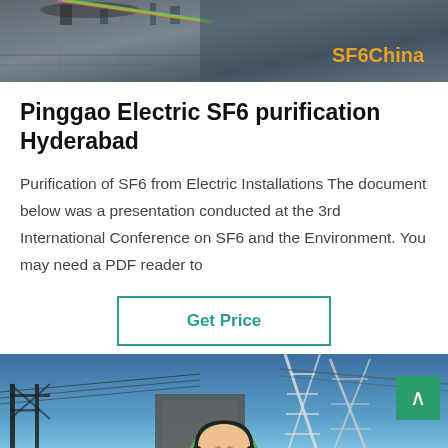[Figure (photo): Header banner photo showing industrial/electrical equipment on pavement with SF6China branding in orange text at right]
Pinggao Electric SF6 purification Hyderabad
Purification of SF6 from Electric Installations The document below was a presentation conducted at the 3rd International Conference on SF6 and the Environment. You may need a PDF reader to
[Figure (other): Get Price button with teal/green border]
[Figure (photo): Footer banner showing electrical substation infrastructure against blue sky, with scroll-to-top button and bottom navigation bar with Leave Message and Chat Online options and customer service avatar]
Leave Message  Chat Online